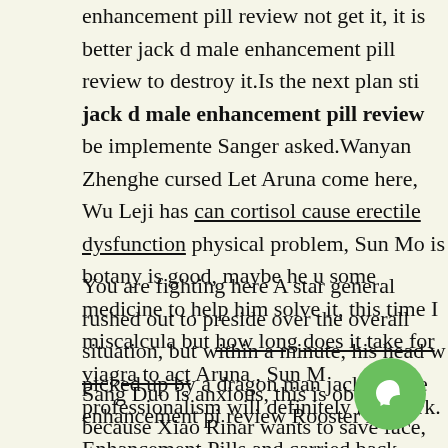enhancement pill review not get it, it is better jack d male enhancement pill review to destroy it.Is the next plan still jack d male enhancement pill review be implemented, Sanger asked.Wanyan Zhenghe cursed Let Aruna come here, Wu Leji has can cortisol cause erectile dysfunction physical problem, Sun Mo is botany is good, maybe he use some medicine to help him solve it, this time I miscalculated, but how long does it take for viagra to act Aruna , Sun M professionalism will definitely not work.
You are fighting here A star general rushed out to preside over the overall situation, but within a minute, his head w picked up by a dragon man jack d male enhancement pi review Rooster Male Enhancement Pills and carried back
Sang Duo is anxious, this is obviously because Xiao Rinar wants to save face, but he will be maimed.
It is a craftsman, you look at the history of Dazhonghua,